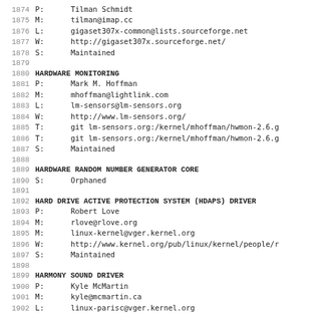1874 P:       Tilman Schmidt
1875 M:       tilman@imap.cc
1876 L:       gigaset307x-common@lists.sourceforge.net
1877 W:       http://gigaset307x.sourceforge.net/
1878 S:       Maintained
1879
1880 HARDWARE MONITORING
1881 P:       Mark M. Hoffman
1882 M:       mhoffman@lightlink.com
1883 L:       lm-sensors@lm-sensors.org
1884 W:       http://www.lm-sensors.org/
1885 T:       git lm-sensors.org:/kernel/mhoffman/hwmon-2.6.g
1886 T:       git lm-sensors.org:/kernel/mhoffman/hwmon-2.6.g
1887 S:       Maintained
1888
1889 HARDWARE RANDOM NUMBER GENERATOR CORE
1890 S:       Orphaned
1891
1892 HARD DRIVE ACTIVE PROTECTION SYSTEM (HDAPS) DRIVER
1893 P:       Robert Love
1894 M:       rlove@rlove.org
1895 M:       linux-kernel@vger.kernel.org
1896 W:       http://www.kernel.org/pub/linux/kernel/people/r
1897 S:       Maintained
1898
1899 HARMONY SOUND DRIVER
1900 P:       Kyle McMartin
1901 M:       kyle@mcmartin.ca
1902 L:       linux-parisc@vger.kernel.org
1903 S:       Maintained
1904
1905 HAYES ESP SERIAL DRIVER
1906 P:       Andrew J. Robinson